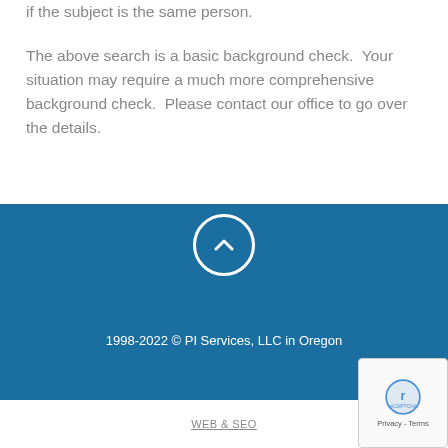if the subject is the same person.
The above search is a basic background check.  Your situation may require a much more comprehensive background check.  Please contact our office to go over the details.
[Figure (other): Circular button with chevron/up arrow icon, white border on dark blue background]
1998-2022 © PI Services, LLC in Oregon
WEB & SEO